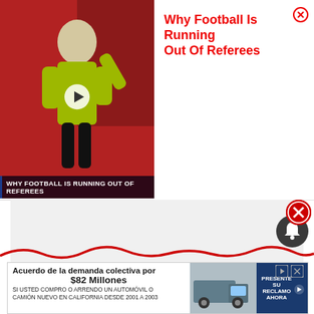[Figure (screenshot): Video thumbnail showing a football referee in yellow shirt raising hand, with crowd in background. Overlay text reads 'WHY FOOTBALL IS RUNNING OUT OF REFEREES'. Play button visible in center.]
Why Football Is Running Out Of Referees
[Figure (other): Ad placeholder box with 'Ad' label in light gray on light gray background]
[Figure (other): Dark circular bell/notification button icon]
[Figure (other): Red wavy decorative line across bottom section with red circle X close button on right]
[Figure (other): Bottom advertisement banner: 'Acuerdo de la demanda colectiva por $82 Millones' with truck image and 'PRESENTE SU RECLAMO AHORA' call to action button]